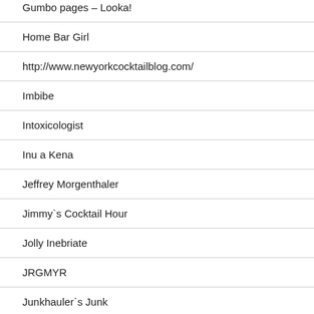Gumbo pages – Looka!
Home Bar Girl
http://www.newyorkcocktailblog.com/
Imbibe
Intoxicologist
Inu a Kena
Jeffrey Morgenthaler
Jimmy`s Cocktail Hour
Jolly Inebriate
JRGMYR
Junkhauler`s Junk
Kaissa Paaaad...